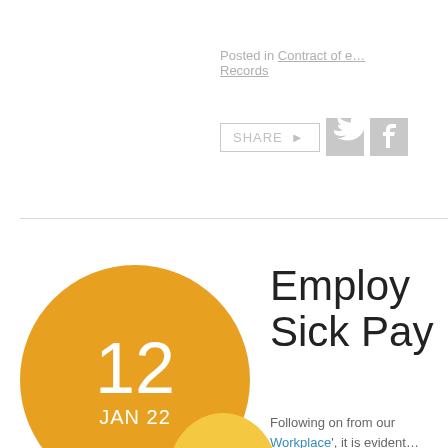Posted in Contract of e… Records
[Figure (infographic): Share button with Twitter and Facebook social media icons in grey]
[Figure (infographic): Large orange circle with '12' and 'JAN 22' in white text; smaller yellow circle below with 'Posted by' text]
Employ… Sick Pay
Following on from our … Workplace', it is evident…